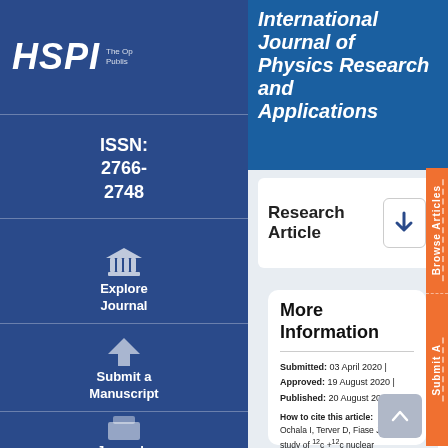International Journal of Physics Research and Applications
HSPI
ISSN: 2766-2748
Explore Journal
Submit a Manuscript
Journals
Research Article
More Information
Submitted: 03 April 2020 | Approved: 19 August 2020 | Published: 20 August 2020
How to cite this article: Ochala I, Terver D, Fiase JO. A study of 12c +12c nuclear
Browse Articles
Submit A